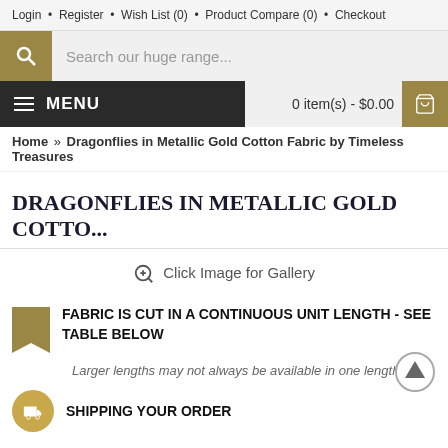Login • Register • Wish List (0) • Product Compare (0) • Checkout
Search our huge range...
≡ MENU   0 item(s) - $0.00
Home » Dragonflies in Metallic Gold Cotton Fabric by Timeless Treasures
DRAGONFLIES IN METALLIC GOLD COTTO...
Click Image for Gallery
FABRIC IS CUT IN A CONTINUOUS UNIT LENGTH - SEE TABLE BELOW
Larger lengths may not always be available in one length
SHIPPING YOUR ORDER